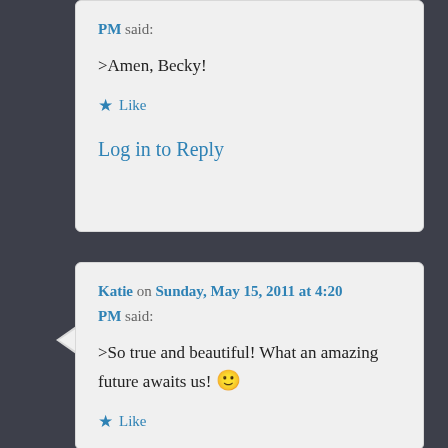PM said:
>Amen, Becky!
★ Like
Log in to Reply
Katie on Sunday, May 15, 2011 at 4:20 PM said:
>So true and beautiful! What an amazing future awaits us! 🙂
★ Like